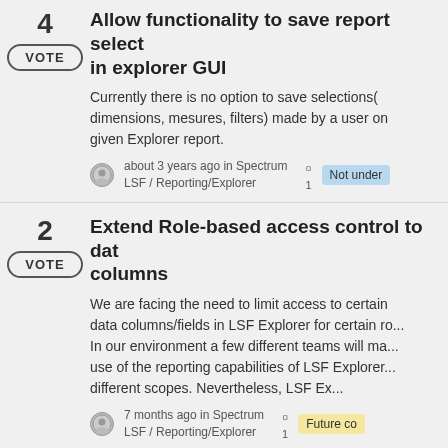4 VOTE | Allow functionality to save report selections in explorer GUI | Currently there is no option to save selections(dimensions, mesures, filters) made by a user on given Explorer report. | about 3 years ago in Spectrum LSF / Reporting/Explorer | 1 | Not under...
2 VOTE | Extend Role-based access control to data columns | We are facing the need to limit access to certain data columns/fields in LSF Explorer for certain ro... In our environment a few different teams will make use of the reporting capabilities of LSF Explorer... different scopes. Nevertheless, LSF Ex... | 7 months ago in Spectrum LSF / Reporting/Explorer | 1 | Future co...
2 VOTE | When a Benchmark job fails It would be n... to see the bsub used to submit the job